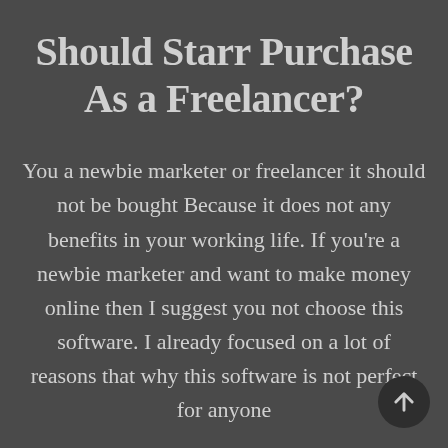Should Starr Purchase As a Freelancer?
You a newbie marketer or freelancer it should not be bought Because it does not any benefits in your working life. If you're a newbie marketer and want to make money online then I suggest you not choose this software. I already focused on a lot of reasons that why this software is not perfect for anyone